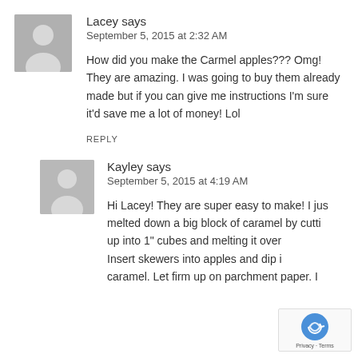[Figure (illustration): Gray avatar icon for user Lacey]
Lacey says
September 5, 2015 at 2:32 AM
How did you make the Carmel apples??? Omg! They are amazing.  I was going to buy them already made but if you can give me instructions  I'm sure it'd save me a lot of money!  Lol
REPLY
[Figure (illustration): Gray avatar icon for user Kayley]
Kayley says
September 5, 2015 at 4:19 AM
Hi  Lacey! They are super easy to make!  I jus melted down a big block of caramel by cutti up into 1" cubes and melting it over Insert skewers into apples and dip i caramel.  Let firm up on parchment paper.  I